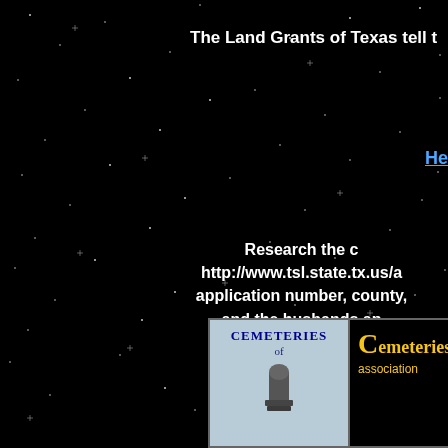The Land Grants of Texas tell t
He
Research the c http://www.tsl.state.tx.us/a application number, county, and the husbands ap
Map Co
Ch
[Figure (illustration): Book cover for Cemeteries of Texas showing title text and a gravestone illustration against a light blue background]
Cemeteries association